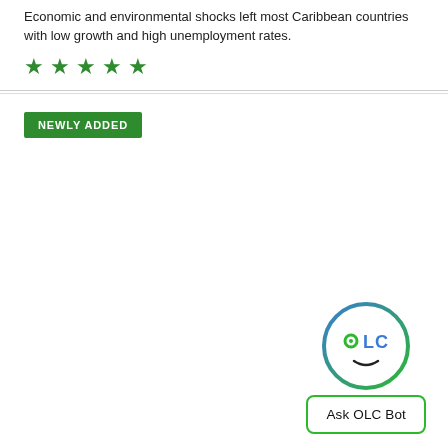Economic and environmental shocks left most Caribbean countries with low growth and high unemployment rates.
[Figure (other): Five green star rating icons]
NEWLY ADDED
[Figure (logo): OLC Bot chatbot icon: a circular face logo with blue and green colors, with text 'Ask OLC Bot' below]